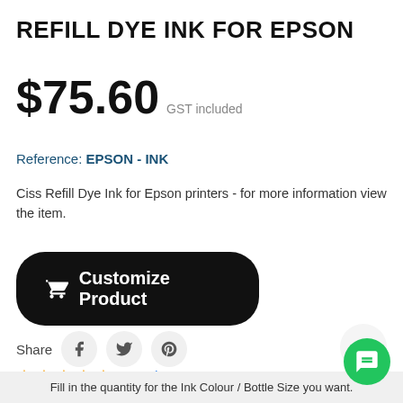REFILL DYE INK FOR EPSON
$75.60 GST included
Reference: EPSON - INK
Ciss Refill Dye Ink for Epson printers - for more information view the item.
Customize Product
Share
76 Reviews
5 Questions \ 5 Answers
Fill in the quantity for the Ink Colour / Bottle Size you want.